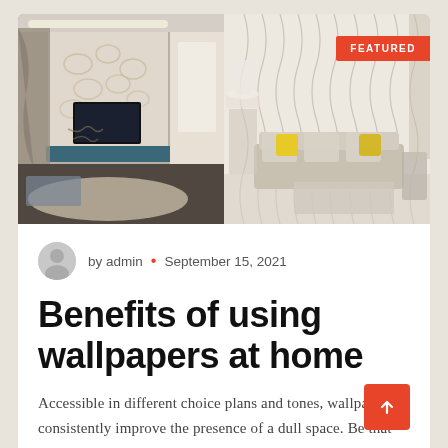[Figure (photo): Two interior room photos side by side: left shows a living room with ornate floral wallpaper, TV mounted on wall, blue media console, and patterned rug; right shows a modern living room with wavy line wallpaper, beige sofa with yellow pillows, and a FEATURED badge overlay in the top right corner.]
by admin • September 15, 2021
Benefits of using wallpapers at home
Accessible in different choice plans and tones, wallpapers consistently improve the presence of a dull space. Be that